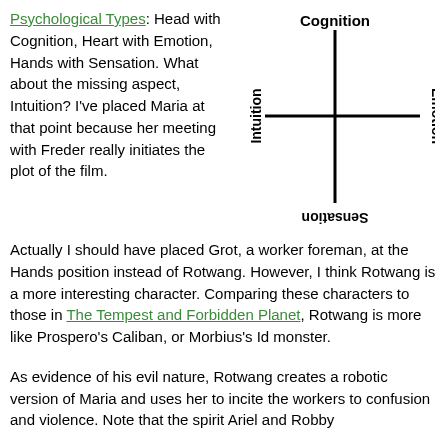Psychological Types: Head with Cognition, Heart with Emotion, Hands with Sensation. What about the missing aspect, Intuition? I've placed Maria at that point because her meeting with Freder really initiates the plot of the film.
[Figure (other): A cross/axis diagram with four labels: Cognition (top), Sensation (bottom, upside-down), Intuition (left, rotated), Emotion (right, rotated).]
Actually I should have placed Grot, a worker foreman, at the Hands position instead of Rotwang. However, I think Rotwang is a more interesting character. Comparing these characters to those in The Tempest and Forbidden Planet, Rotwang is more like Prospero's Caliban, or Morbius's Id monster.
As evidence of his evil nature, Rotwang creates a robotic version of Maria and uses her to incite the workers to confusion and violence. Note that the spirit Ariel and Robby